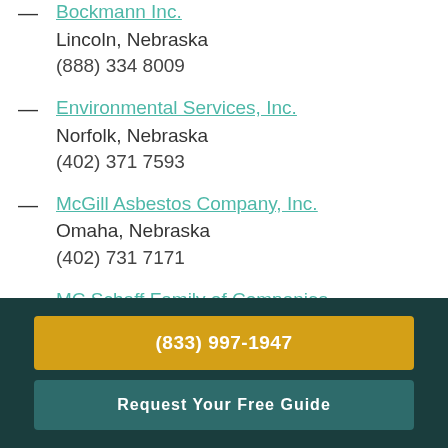Bockmann Inc.
Lincoln, Nebraska
(888) 334 8009
Environmental Services, Inc.
Norfolk, Nebraska
(402) 371 7593
McGill Asbestos Company, Inc.
Omaha, Nebraska
(402) 731 7171
MC Schaff Family of Companies
Scottsbluff, Nebraska
(308) 635 1926
Pure Maintenance
(833) 997-1947
Request Your Free Guide